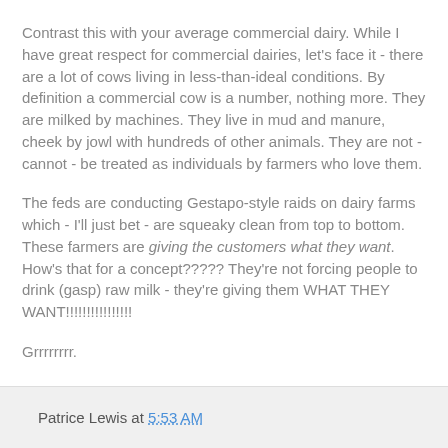Contrast this with your average commercial dairy. While I have great respect for commercial dairies, let's face it - there are a lot of cows living in less-than-ideal conditions. By definition a commercial cow is a number, nothing more. They are milked by machines. They live in mud and manure, cheek by jowl with hundreds of other animals. They are not - cannot - be treated as individuals by farmers who love them.
The feds are conducting Gestapo-style raids on dairy farms which - I'll just bet - are squeaky clean from top to bottom. These farmers are giving the customers what they want. How's that for a concept????? They're not forcing people to drink (gasp) raw milk - they're giving them WHAT THEY WANT!!!!!!!!!!!!!!!!
Grrrrrrrr.
Okay, I'll calm down now.
Patrice Lewis at 5:53 AM